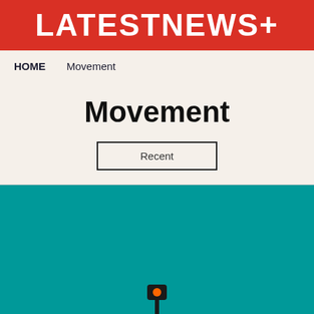LATESTNEWS+
HOME    Movement
Movement
Recent
[Figure (photo): Teal/turquoise background with a traffic light near the bottom center showing an orange/red light on a dark pole]